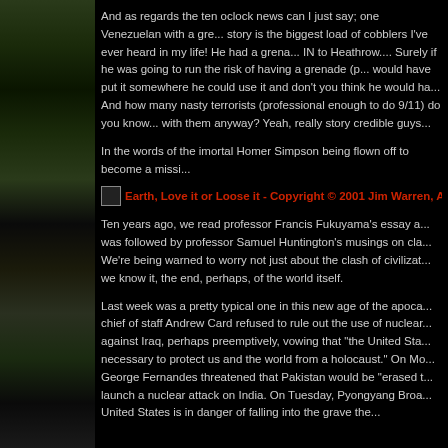And as regards the ten oclock news can I just say; one Venezuelan with a gre... story is the biggest load of cobblers I've ever heard in my life! He had a grena... IN to Heathrow.... Surely if he was going to run the risk of having a grenade (p... would have put it somewhere he could use it and don't you think he would ha... And how many nasty terrorists (professional enough to do 9/11) do you know... with them anyway? Yeah, really story credible guys...
In the words of the imortal Homer Simpson being flown off to become a missi...
[Figure (illustration): Image with red text caption: Earth, Love it or Loose it - Copyright © 2001 Jim Warren, A...]
Ten years ago, we read professor Francis Fukuyama's essay a... was followed by professor Samuel Huntington's musings on cla... We're being warned to worry not just about the clash of civilizat... we know it, the end, perhaps, of the world itself.
Last week was a pretty typical one in this new age of the apoca... chief of staff Andrew Card refused to rule out the use of nuclear... against Iraq, perhaps preemptively, vowing that "the United Sta... necessary to protect us and the world from a holocaust." On Mo... George Fernandes threatened that Pakistan would be "erased t... launch a nuclear attack on India. On Tuesday, Pyongyang Broa... United States is in danger of falling into the grave the...